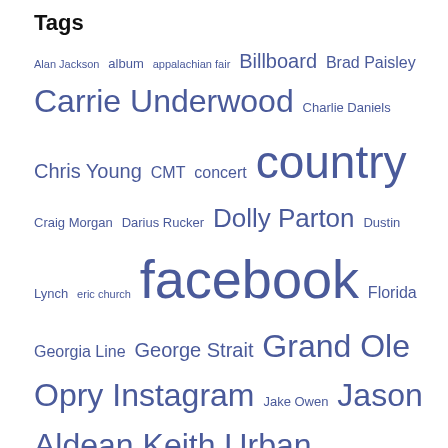Tags
Alan Jackson album appalachian fair Billboard Brad Paisley Carrie Underwood Charlie Daniels Chris Young CMT concert country Craig Morgan Darius Rucker Dolly Parton Dustin Lynch eric church facebook Florida Georgia Line George Strait Grand Ole Opry Instagram Jake Owen Jason Aldean Keith Urban Kelsea Ballerini Kenny Chesney Lee Brice LoCash Luke Bryan Miranda Lambert music Nashville Northeast Tennessee quot Randy Houser Scotty McCreery show song Spotify Tenn. Tim McGraw Toby Keith trace adkins Twitter youtube